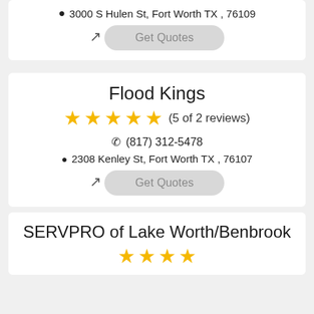3000 S Hulen St, Fort Worth  TX , 76109
[external link icon]
Get Quotes
Flood Kings
★★★★★ (5 of 2 reviews)
(817) 312-5478
2308 Kenley St, Fort Worth  TX , 76107
[external link icon]
Get Quotes
SERVPRO of Lake Worth/Benbrook
★★★★